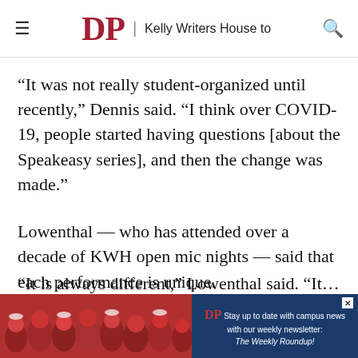DP | Kelly Writers House to
“It was not really student-organized until recently,” Dennis said. “I think over COVID-19, people started having questions [about the Speakeasy series], and then the change was made.”
Lowenthal — who has attended over a decade of KWH open mic nights — said that each performance is unique.
“It is always different,” Lowenthal said. “It…
[Figure (photo): Advertisement banner showing crowd of people in red shirts at a Penn event, with a dark blue box promoting 'The Weekly Roundup' newsletter from The Daily Pennsylvanian]